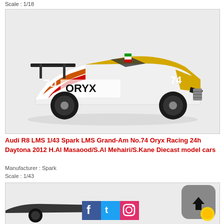Scale : 1/18
[Figure (photo): Diecast model car photo: Audi R8 LMS No.74 Oryx Racing, yellow/white/red livery with large rear wing, on white background]
Audi R8 LMS 1/43 Spark LMS Grand-Am No.74 Oryx Racing 24h Daytona 2012 H.Al Masaood/S.Al Mehairi/S.Kane Diecast model cars
Manufacturer : Spark
Scale : 1/43
[Figure (photo): Bottom partial image of another diecast model car, with Facebook, Twitter, Instagram social media icons overlaid and an upload button icon in the top right corner]